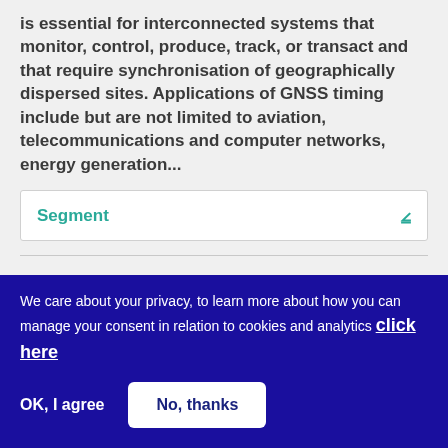is essential for interconnected systems that monitor, control, produce, track, or transact and that require synchronisation of geographically dispersed sites. Applications of GNSS timing include but are not limited to aviation, telecommunications and computer networks, energy generation...
Segment
Open service authentication user terminals prior information notice
The purpose of this procurement is to design,
We care about your privacy, to learn more about how you can manage your consent in relation to cookies and analytics click here
OK, I agree   No, thanks